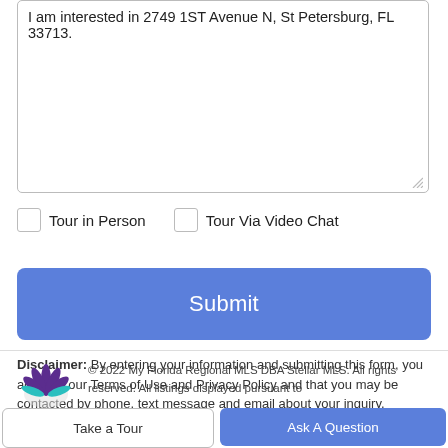I am interested in 2749 1ST Avenue N, St Petersburg, FL 33713.
Tour in Person   Tour Via Video Chat
Submit
Disclaimer: By entering your information and submitting this form, you agree to our Terms of Use and Privacy Policy and that you may be contacted by phone, text message and email about your inquiry.
© 2022 My Florida Regional MLS DBA Stellar MLS. All rights reserved. All listings displayed pursuant to
Take a Tour
Ask A Question